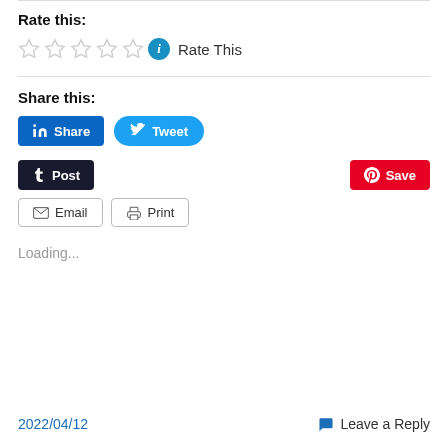Rate this:
[Figure (other): Five empty star rating icons followed by an info circle icon and 'Rate This' text]
Share this:
[Figure (other): LinkedIn Share button and Twitter Tweet button]
[Figure (other): Tumblr Post button and Pinterest Save button]
[Figure (other): Email button and Print button]
Loading...
2022/04/12    Leave a Reply